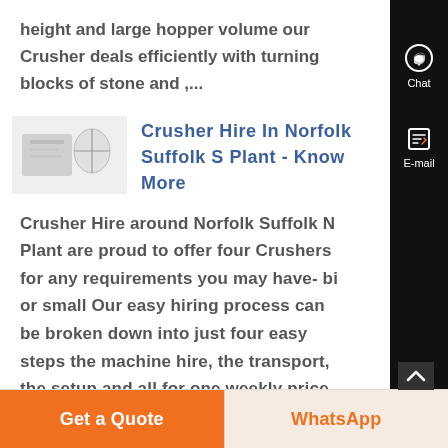height and large hopper volume our Crusher deals efficiently with turning blocks of stone and ,...
[Figure (photo): Small thumbnail image showing what appears to be a crusher or plant equipment, mostly white/grey tones]
Crusher Hire In Norfolk Suffolk S Plant - Know More
Crusher Hire around Norfolk Suffolk N Plant are proud to offer four Crushers for any requirements you may have- bi or small Our easy hiring process can be broken down into just four easy steps the machine hire, the transport, the setup and all for one weekly price...